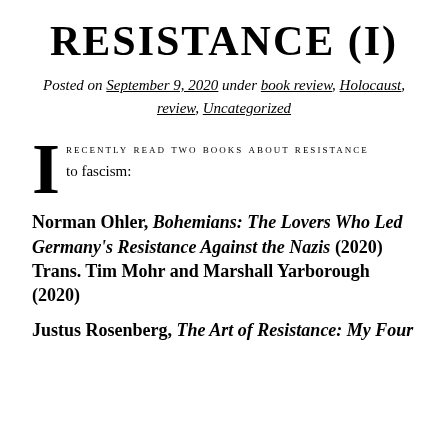RESISTANCE (I)
Posted on September 9, 2020 under book review, Holocaust, review, Uncategorized
I RECENTLY READ TWO BOOKS ABOUT RESISTANCE to fascism:
Norman Ohler, Bohemians: The Lovers Who Led Germany's Resistance Against the Nazis (2020) Trans. Tim Mohr and Marshall Yarborough (2020)
Justus Rosenberg, The Art of Resistance: My Four